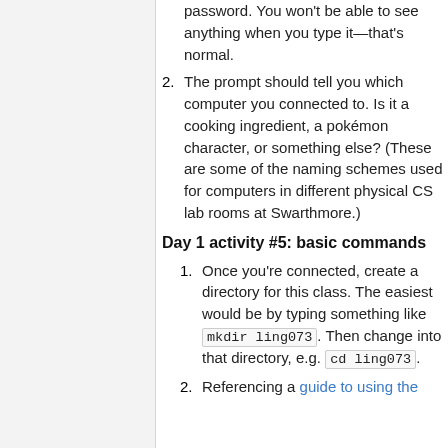password. You won't be able to see anything when you type it—that's normal.
The prompt should tell you which computer you connected to. Is it a cooking ingredient, a pokémon character, or something else? (These are some of the naming schemes used for computers in different physical CS lab rooms at Swarthmore.)
Day 1 activity #5: basic commands
Once you're connected, create a directory for this class. The easiest would be by typing something like mkdir ling073. Then change into that directory, e.g. cd ling073.
Referencing a guide to using the